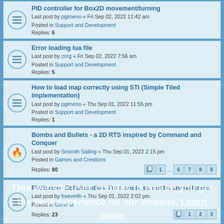PID controller for Box2D movement/turning — Last post by pgimeno « Fri Sep 02, 2022 11:42 am — Posted in Support and Development — Replies: 6
Error loading lua file — Last post by zorg « Fri Sep 02, 2022 7:56 am — Posted in Support and Development — Replies: 5
How to load map correctly using STI (Simple Tiled Implementation) — Last post by pgimeno « Thu Sep 01, 2022 11:55 pm — Posted in Support and Development — Replies: 1
Bombs and Bullets - a 2D RTS inspired by Command and Conquer — Last post by Smooth Sailing « Thu Sep 01, 2022 2:15 pm — Posted in Games and Creations — Replies: 80 — Pages: 1 ... 6 7 8 9
Platformer Collaboration. I'm a noob, so noobs are welcome. — Last post by freeve4h « Thu Sep 01, 2022 2:02 pm — Posted in General — Replies: 23 — Pages: 1 2 3
How to make terminal in love2d — Last post by Mangro « Thu Sep 01, 2022 1:38 pm — Posted in Support and Development
This website uses cookies to ensure you get the best experience on our website. Learn more
Loading [MathJax]/extensions/tex2jax.js